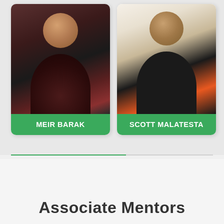[Figure (photo): Photo of Meir Barak, a smiling middle-aged man wearing a dark blazer over a dark red shirt]
MEIR BARAK
[Figure (photo): Photo of Scott Malatesta, a smiling man wearing a dark jersey with an orange collar]
SCOTT MALATESTA
Associate Mentors